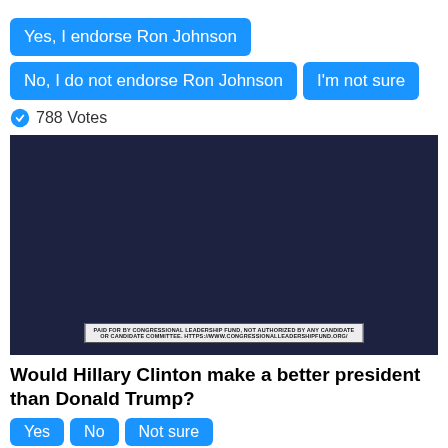Yes, I endorse Ron Johnson
No, I do not endorse Ron Johnson
I'm not sure
788 Votes
[Figure (photo): Photo of Hillary Clinton looking over her shoulder with a blurred figure in the background, dark background. Disclaimer text at bottom: PAID FOR BY CONGRESSIONAL LEADERSHIP FUND, NOT AUTHORIZED BY ANY CANDIDATE OR CANDIDATE COMMITTEE. HTTPS://WWW.CONGRESSIONALLEADERSHIPFUND.ORG/]
Would Hillary Clinton make a better president than Donald Trump?
Yes
No
Not sure